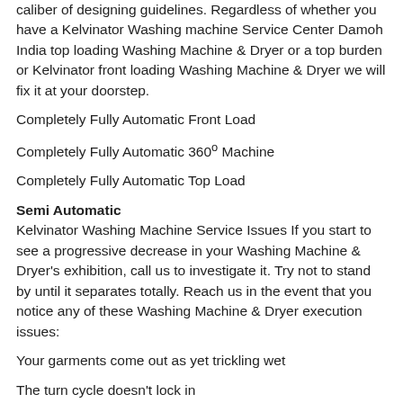caliber of designing guidelines. Regardless of whether you have a Kelvinator Washing machine Service Center Damoh India top loading Washing Machine & Dryer or a top burden or Kelvinator front loading Washing Machine & Dryer we will fix it at your doorstep.
Completely Fully Automatic Front Load
Completely Fully Automatic 360º Machine
Completely Fully Automatic Top Load
Semi Automatic
Kelvinator Washing Machine Service Issues If you start to see a progressive decrease in your Washing Machine & Dryer's exhibition, call us to investigate it. Try not to stand by until it separates totally. Reach us in the event that you notice any of these Washing Machine & Dryer execution issues:
Your garments come out as yet trickling wet
The turn cycle doesn't lock in
Your garments are not cleaning great